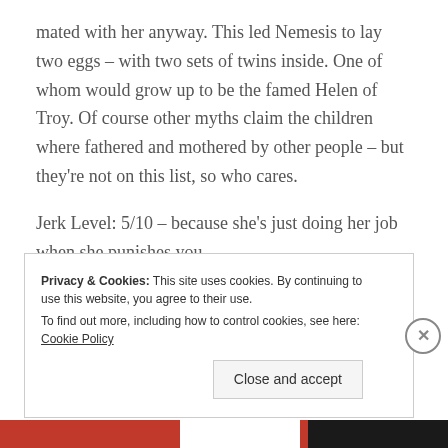mated with her anyway. This led Nemesis to lay two eggs – with two sets of twins inside. One of whom would grow up to be the famed Helen of Troy. Of course other myths claim the children where fathered and mothered by other people – but they're not on this list, so who cares.
Jerk Level: 5/10 – because she's just doing her job when she punishes you.
4. Dionysus
Privacy & Cookies: This site uses cookies. By continuing to use this website, you agree to their use.
To find out more, including how to control cookies, see here: Cookie Policy